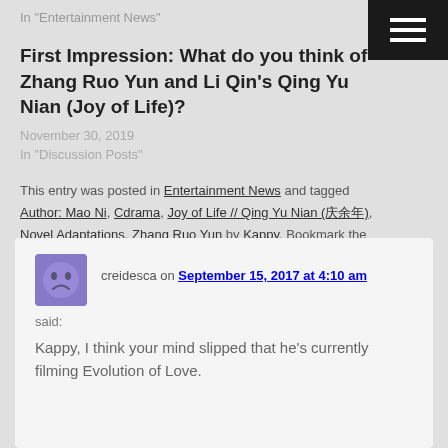In "Entertainment News"
First Impression: What do you think of Zhang Ruo Yun and Li Qin's Qing Yu Nian (Joy of Life)?
November 30, 2019
In "Discussion Posts"
This entry was posted in Entertainment News and tagged Author: Mao Ni, Cdrama, Joy of Life // Qing Yu Nian (庆余年), Novel Adaptations, Zhang Ruo Yun by Kappy. Bookmark the permalink.
creidesca on September 15, 2017 at 4:10 am
said:
Kappy, I think your mind slipped that he's currently filming Evolution of Love.